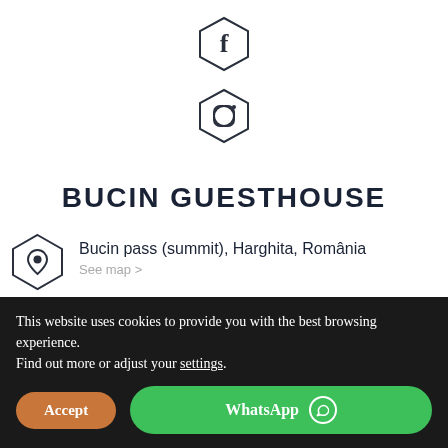[Figure (logo): Facebook hexagon icon]
[Figure (logo): Instagram hexagon icon]
BUCIN GUESTHOUSE
Bucin pass (summit), Harghita, România
See map >
0771 241 638
This website uses cookies to provide you with the best browsing experience.
Find out more or adjust your settings.